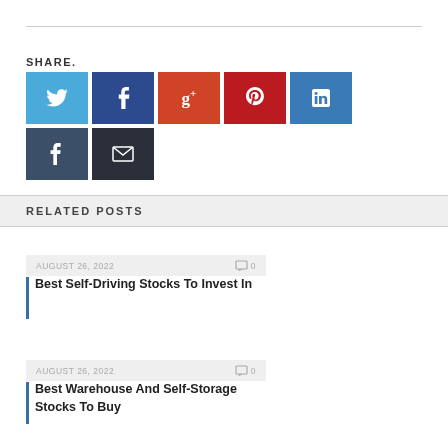SHARE.
[Figure (infographic): Social media share buttons: Twitter (blue), Facebook (dark blue), Google+ (orange-red), Pinterest (red), LinkedIn (blue), Tumblr (dark blue-grey), Email (dark)]
RELATED POSTS
AUGUST 26, 2022  0
Best Self-Driving Stocks To Invest In
AUGUST 26, 2022  0
Best Warehouse And Self-Storage Stocks To Buy